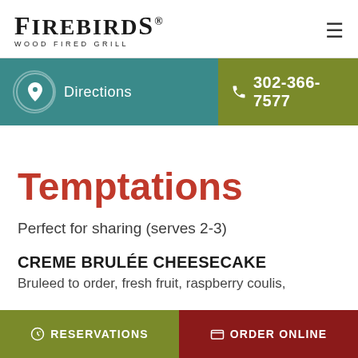FIREBIRDS WOOD FIRED GRILL
[Figure (screenshot): Navigation bar with Directions button (teal) and phone number 302-366-7577 (olive green)]
Temptations
Perfect for sharing (serves 2-3)
CREME BRULÉE CHEESECAKE
Bruleed to order, fresh fruit, raspberry coulis,
RESERVATIONS   ORDER ONLINE